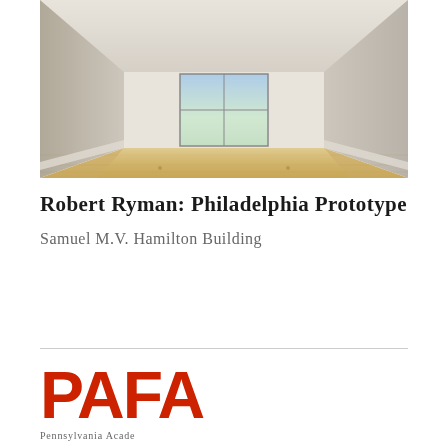[Figure (photo): Interior of a large empty gallery room with light wood flooring, white walls, and a large window at the far end showing green trees outside. The room has a high ceiling and the perspective creates a vanishing point toward the window.]
Robert Ryman: Philadelphia Prototype
Samuel M.V. Hamilton Building
[Figure (logo): PAFA logo in large bold red serif letters, with 'Pennsylvania Academy' text below in smaller gray letters]